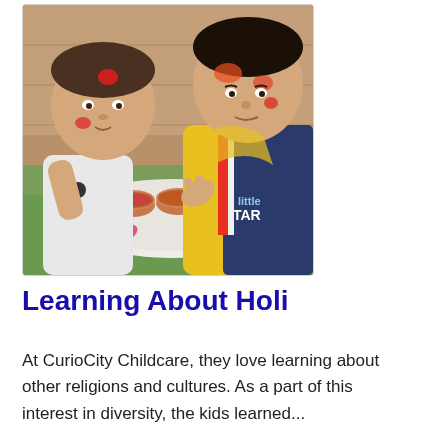[Figure (photo): Two young children with colorful powder (red/pink) on their faces, leaning over a white plate with small metal bowls and pink flower petals, celebrating Holi. One child wears a white top with a cat print, the other wears a yellow and dark jacket with 'little STAR' text.]
Learning About Holi
At CurioCity Childcare, they love learning about other religions and cultures. As a part of this interest in diversity, the kids learned...